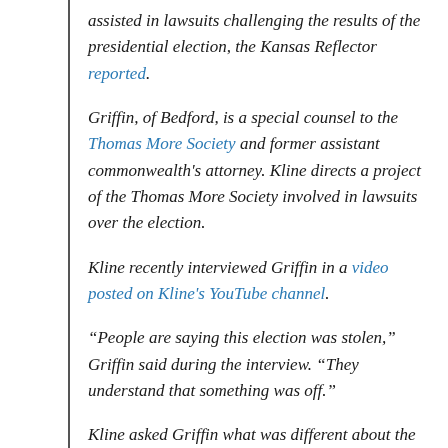assisted in lawsuits challenging the results of the presidential election, the Kansas Reflector reported.
Griffin, of Bedford, is a special counsel to the Thomas More Society and former assistant commonwealth's attorney. Kline directs a project of the Thomas More Society involved in lawsuits over the election.
Kline recently interviewed Griffin in a video posted on Kline's YouTube channel.
“People are saying this election was stolen,” Griffin said during the interview. “They understand that something was off.”
Kline asked Griffin what was different about the